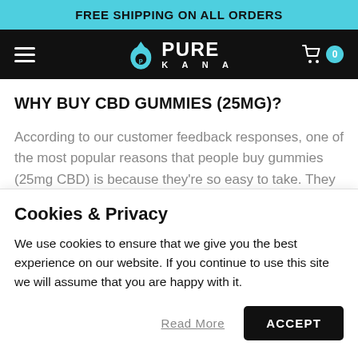FREE SHIPPING ON ALL ORDERS
[Figure (logo): PureKana logo with water drop icon, white text on black background]
WHY BUY CBD GUMMIES (25MG)?
According to our customer feedback responses, one of the most popular reasons that people buy gummies (25mg CBD) is because they're so easy to take. They avoid the mint flavor that some people find in ...
Cookies & Privacy
We use cookies to ensure that we give you the best experience on our website. If you continue to use this site we will assume that you are happy with it.
Read More
ACCEPT